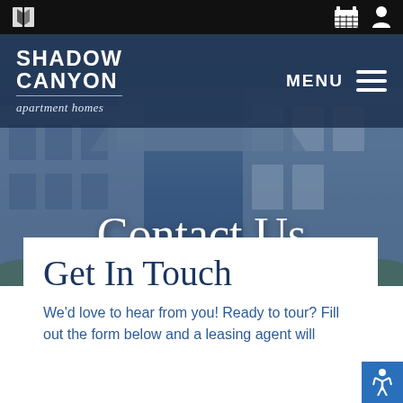Shadow Canyon apartment homes — navigation bar with MENU
Contact Us
Get In Touch
We'd love to hear from you! Ready to tour? Fill out the form below and a leasing agent will